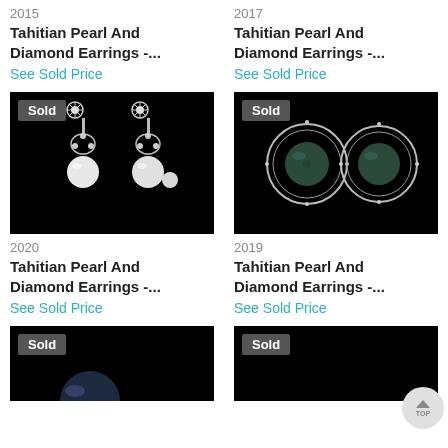2015
Tahitian Pearl And Diamond Earrings -...
See Sold Price
2017
Tahitian Pearl And Diamond Earrings -...
See Sold Price
[Figure (photo): Sold badge jewelry photo of Tahitian pearl and diamond earrings with flower top on black background]
2020
Tahitian Pearl And Diamond Earrings -...
See Sold Price
[Figure (photo): Sold badge jewelry photo of Tahitian pearl and diamond circle earrings on black background]
2019
Tahitian Pearl And Diamond Earrings -...
See Sold Price
[Figure (photo): Sold badge partial jewelry photo at bottom left on black background]
[Figure (photo): Sold badge partial jewelry photo at bottom right on black background]